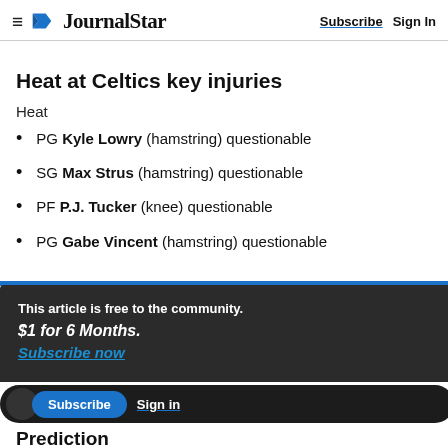≡ JournalStar   Subscribe  Sign In
Heat at Celtics key injuries
Heat
PG Kyle Lowry (hamstring) questionable
SG Max Strus (hamstring) questionable
PF P.J. Tucker (knee) questionable
PG Gabe Vincent (hamstring) questionable
This article is free to the community.
$1 for 6 Months.
Subscribe now
Prediction